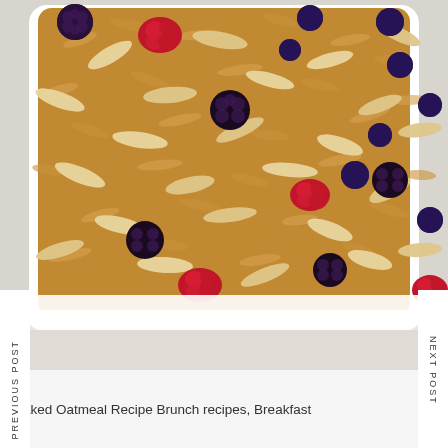[Figure (photo): Close-up overhead shot of baked oatmeal in a white ceramic baking dish, topped with blackberries, raspberries, blueberries, and sliced almonds, with a light marble surface visible in the background. Navigation labels 'PREVIOUS POST' on the left and 'NEXT POST' on the right are overlaid as white vertical bands.]
Baked Oatmeal Recipe Brunch recipes, Breakfast